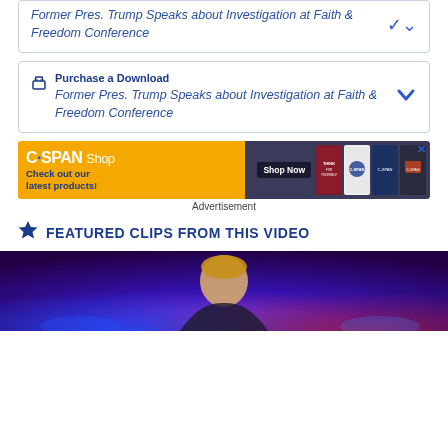More information about Former Pres. Trump Speaks about Investigation at Faith & Freedom Conference
Purchase a Download — Former Pres. Trump Speaks about Investigation at Faith & Freedom Conference
[Figure (screenshot): C-SPAN Shop advertisement banner with yellow/dark background, shirts, and Shop Now button]
Advertisement
FEATURED CLIPS FROM THIS VIDEO
[Figure (photo): Video thumbnail showing a person (Trump) on a stage with purple and blue lighting]